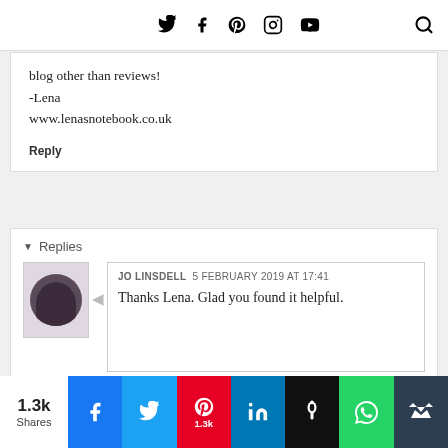Twitter, Facebook, Pinterest, Instagram, YouTube, Search
blog other than reviews!
-Lena
www.lenasnotebook.co.uk
Reply
Replies
JO LINSDELL  5 FEBRUARY 2019 AT 17:41
Thanks Lena. Glad you found it helpful.
Reply
1.3k Shares | Facebook | Twitter | Pinterest 1.3k | LinkedIn | Hootsuite | WhatsApp | Mail